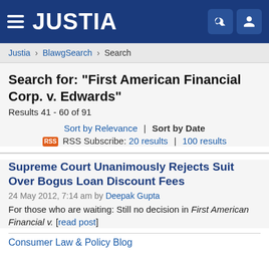JUSTIA
Justia > BlawgSearch > Search
Search for: "First American Financial Corp. v. Edwards"
Results 41 - 60 of 91
Sort by Relevance | Sort by Date
RSS Subscribe: 20 results | 100 results
Supreme Court Unanimously Rejects Suit Over Bogus Loan Discount Fees
24 May 2012, 7:14 am by Deepak Gupta
For those who are waiting: Still no decision in First American Financial v. [read post]
Consumer Law & Policy Blog